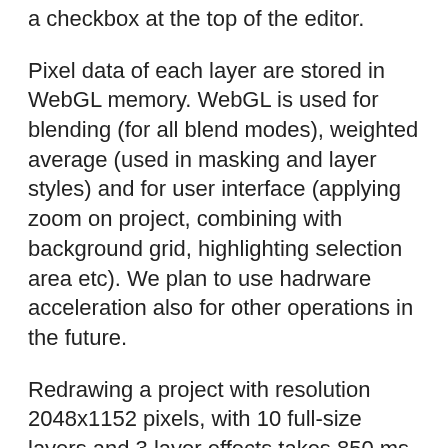a checkbox at the top of the editor.
Pixel data of each layer are stored in WebGL memory. WebGL is used for blending (for all blend modes), weighted average (used in masking and layer styles) and for user interface (applying zoom on project, combining with background grid, highlighting selection area etc). We plan to use hadrware acceleration also for other operations in the future.
Redrawing a project with resolution 2048x1152 pixels, with 10 full-size layers and 3 layer effects takes 850 ms without WebGL acceleration, and 55 ms with acceleration. Try it by yourself on your own device in this demo. Feel free to download PSD and open it in Photoshop or Gimp for comparison. In my case, Photopea seems even a little smoother.